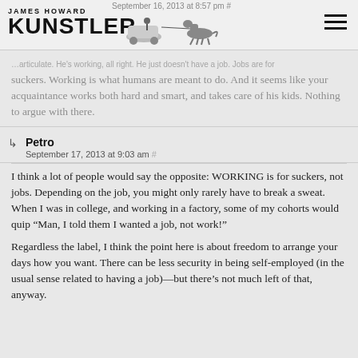James Howard Kunstler — September 16, 2013 at 8:57 pm
suckers. Working is what humans are meant to do. And it seems like your acquaintance works both hard and smart, and takes care of his kids. Nothing to argue with there.
Petro
September 17, 2013 at 9:03 am #
I think a lot of people would say the opposite: WORKING is for suckers, not jobs. Depending on the job, you might only rarely have to break a sweat. When I was in college, and working in a factory, some of my cohorts would quip “Man, I told them I wanted a job, not work!”
Regardless the label, I think the point here is about freedom to arrange your days how you want. There can be less security in being self-employed (in the usual sense related to having a job)—but there’s not much left of that, anyway.